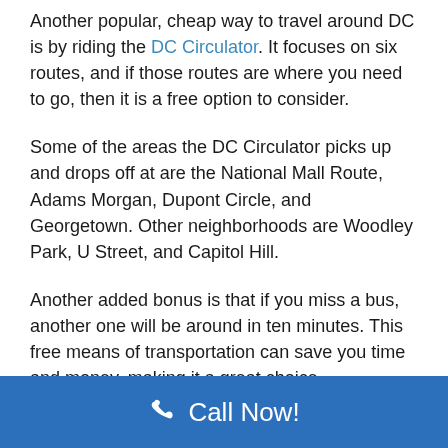Another popular, cheap way to travel around DC is by riding the DC Circulator. It focuses on six routes, and if those routes are where you need to go, then it is a free option to consider.
Some of the areas the DC Circulator picks up and drops off at are the National Mall Route, Adams Morgan, Dupont Circle, and Georgetown. Other neighborhoods are Woodley Park, U Street, and Capitol Hill.
Another added bonus is that if you miss a bus, another one will be around in ten minutes. This free means of transportation can save you time and money, making it a great choice.
Call Now!